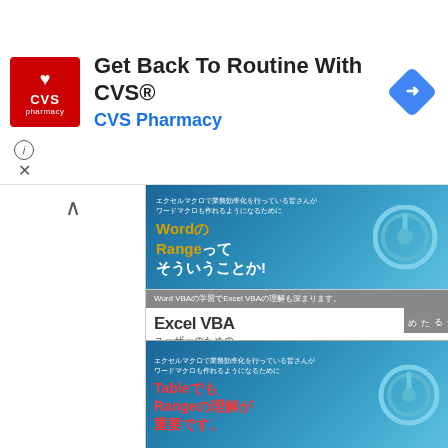[Figure (screenshot): CVS Pharmacy advertisement banner with CVS logo (red square with heart), text 'Get Back To Routine With CVS®' and 'CVS Pharmacy' in blue, navigation diamond icon on right. Info (i) and close (x) icons at bottom left.]
[Figure (screenshot): Left panel with white background showing upward chevron arrow, and right panel showing three Japanese book covers: 1) 'WordのRangeってそういうことか!' blue book with power button icon, 2) 'Excel VBA ユーザーのためのWord VBA2 入門 Tableの基本編' with gray side panel, 3) 'TableでもRangeの理解が重要です。' blue book with power button icon.]